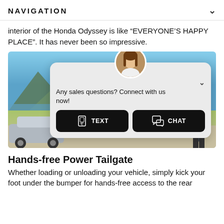NAVIGATION
interior of the Honda Odyssey is like “EVERYONE’S HAPPY PLACE”. It has never been so impressive.
[Figure (screenshot): Photo of Honda Odyssey minivan parked near a lake with mountains and trees in background. A person stands to the right. A chat popup overlay shows a female avatar, a chevron dismiss button, text 'Any sales questions? Connect with us now!' and two black buttons labeled TEXT and CHAT with icons.]
Hands-free Power Tailgate
Whether loading or unloading your vehicle, simply kick your foot under the bumper for hands-free access to the rear